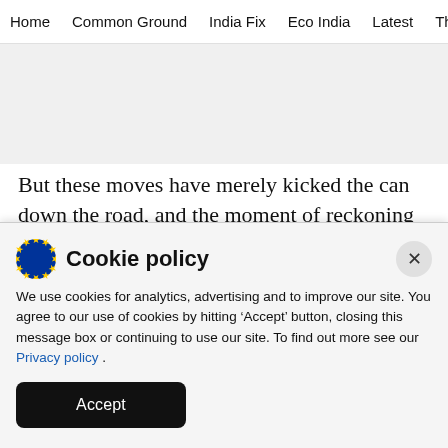Home  Common Ground  India Fix  Eco India  Latest  Th
But these moves have merely kicked the can down the road, and the moment of reckoning could arrive in 2021. The RBI in its latest report warned that
Cookie policy
We use cookies for analytics, advertising and to improve our site. You agree to our use of cookies by hitting ‘Accept’ button, closing this message box or continuing to use our site. To find out more see our Privacy policy .
Accept